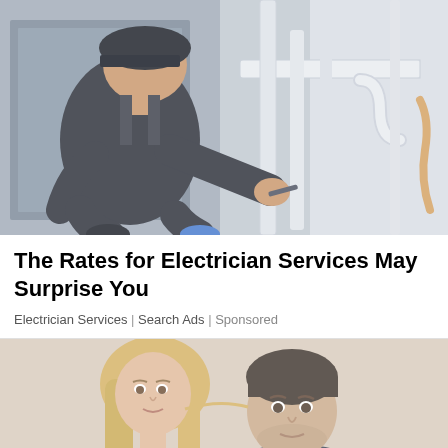[Figure (photo): A technician in dark work clothes and black cap crouching down and working on pipes and plumbing under a sink or appliance, various white pipes and tubes visible.]
The Rates for Electrician Services May Surprise You
Electrician Services | Search Ads | Sponsored
[Figure (photo): A couple, a woman with blonde hair and a man with stubble, leaning close together, appearing concerned or thoughtful, against a light background.]